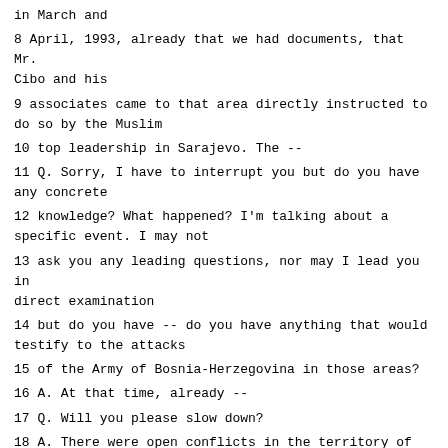in March and
8 April, 1993, already that we had documents, that Mr. Cibo and his
9 associates came to that area directly instructed to do so by the Muslim
10 top leadership in Sarajevo. The --
11 Q. Sorry, I have to interrupt you but do you have any concrete
12 knowledge? What happened? I'm talking about a specific event. I may not
13 ask you any leading questions, nor may I lead you in direct examination
14 but do you have -- do you have anything that would testify to the attacks
15 of the Army of Bosnia-Herzegovina in those areas?
16 A. At that time, already --
17 Q. Will you please slow down?
18 A. There were open conflicts in the territory of Konjic and murder of
19 Croats in the territory of the municipality of